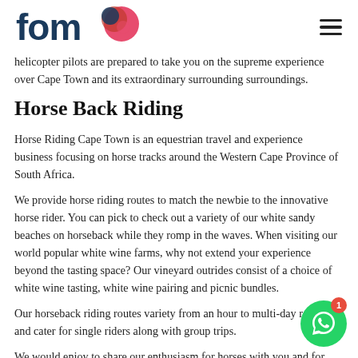[Figure (logo): fomo logo with colorful circular graphic]
helicopter pilots are prepared to take you on the supreme experience over Cape Town and its extraordinary surrounding surroundings.
Horse Back Riding
Horse Riding Cape Town is an equestrian travel and experience business focusing on horse tracks around the Western Cape Province of South Africa.
We provide horse riding routes to match the newbie to the innovative horse rider. You can pick to check out a variety of our white sandy beaches on horseback while they romp in the waves. When visiting our world popular white wine farms, why not extend your experience beyond the tasting space? Our vineyard outrides consist of a choice of white wine tasting, white wine pairing and picnic bundles.
Our horseback riding routes variety from an hour to multi-day ro... and cater for single riders along with group trips.
We would enjoy to share our enthusiasm for horses with you and for